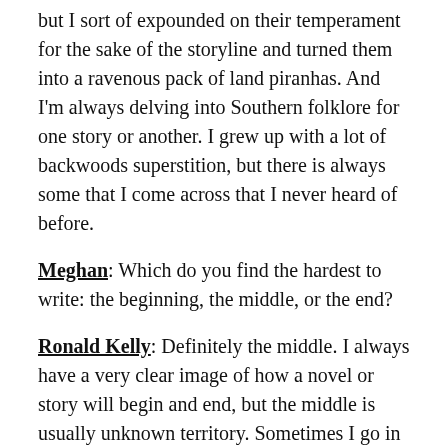but I sort of expounded on their temperament for the sake of the storyline and turned them into a ravenous pack of land piranhas. And I'm always delving into Southern folklore for one story or another. I grew up with a lot of backwoods superstition, but there is always some that I come across that I never heard of before.
Meghan: Which do you find the hardest to write: the beginning, the middle, or the end?
Ronald Kelly: Definitely the middle. I always have a very clear image of how a novel or story will begin and end, but the middle is usually unknown territory. Sometimes I go in with a certain chain of events firmly in mind, but I find out that absolutely nothing is written in stone. Sometimes directions change when it comes to plot and characters. If you force your will on